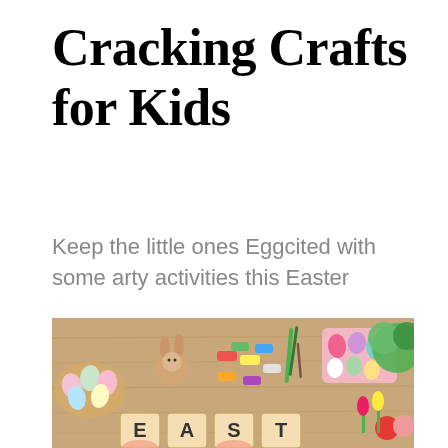Cracking Crafts for Kids
Keep the little ones Eggcited with some arty activities this Easter
[Figure (photo): Overhead view of a wooden table with Easter crafts: colorful painted eggs in baskets and trays, small paint pots in multiple colors, paintbrushes, a fluffy Easter bunny decoration, green plants, tulips, apples, and children's hands holding wooden letter tiles spelling EAST(ER) at the bottom.]